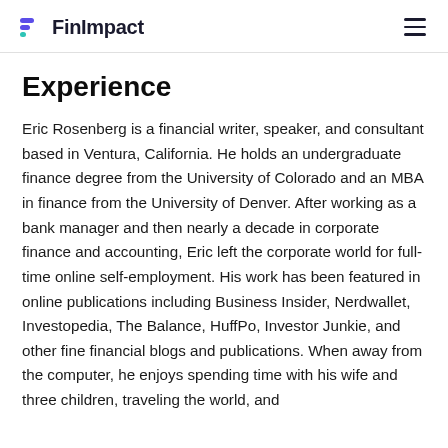FinImpact
Experience
Eric Rosenberg is a financial writer, speaker, and consultant based in Ventura, California. He holds an undergraduate finance degree from the University of Colorado and an MBA in finance from the University of Denver. After working as a bank manager and then nearly a decade in corporate finance and accounting, Eric left the corporate world for full-time online self-employment. His work has been featured in online publications including Business Insider, Nerdwallet, Investopedia, The Balance, HuffPo, Investor Junkie, and other fine financial blogs and publications. When away from the computer, he enjoys spending time with his wife and three children, traveling the world, and